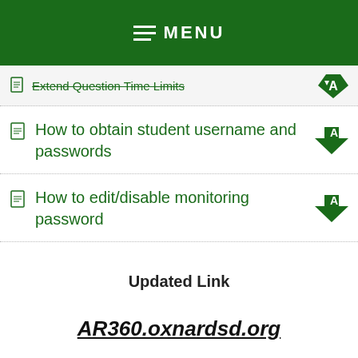MENU
Extend Question Time Limits
How to obtain student username and passwords
How to edit/disable monitoring password
Updated Link
AR360.oxnardsd.org